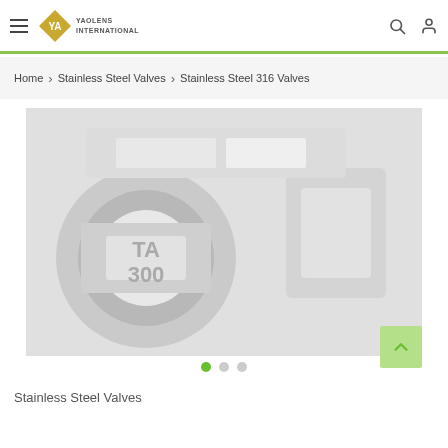YAOLENS INTERNATIONAL
Home > Stainless Steel Valves > Stainless Steel 316 Valves
[Figure (photo): Industrial stainless steel valves/pipes in a factory or warehouse setting, muted gray tones]
Stainless Steel Valves